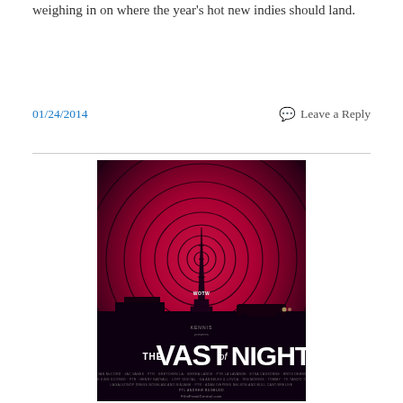weighing in on where the year's hot new indies should land.
01/24/2014    Leave a Reply
[Figure (illustration): Movie poster for 'The Vast of Night' — dark red/magenta retro-style poster with concentric circles radiating from a radio tower silhouette at night. Title text reads 'THE VAST of NIGHT' in stylized white lettering at the bottom. Small credits text below the title.]